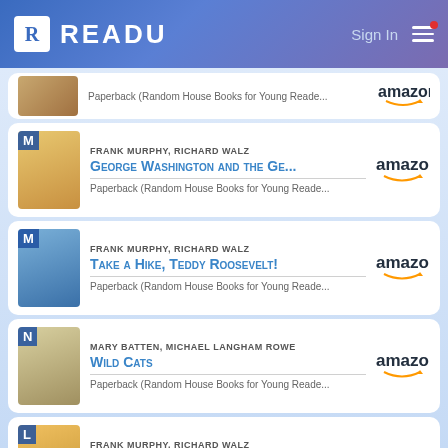READU | Sign In
Paperback (Random House Books for Young Reade...
FRANK MURPHY, RICHARD WALZ — George Washington and the Ge...
Paperback (Random House Books for Young Reade...)
FRANK MURPHY, RICHARD WALZ — Take a Hike, Teddy Roosevelt!
Paperback (Random House Books for Young Reade...)
MARY BATTEN, MICHAEL LANGHAM ROWE — Wild Cats
Paperback (Random House Books for Young Reade...)
FRANK MURPHY, RICHARD WALZ — Ben Franklin and the Magic Squ...
Paperback (Random House Books for Young Reade...)
NATASHA BOUCHARD, DISNEY STORYBOOK AR